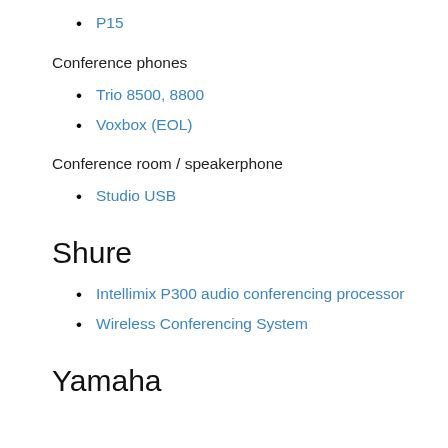P15
Conference phones
Trio 8500, 8800
Voxbox (EOL)
Conference room / speakerphone
Studio USB
Shure
Intellimix P300 audio conferencing processor
Wireless Conferencing System
Yamaha